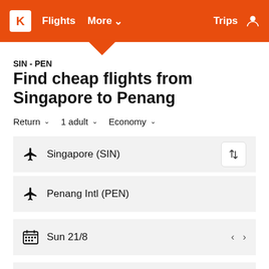K  Flights  More  Trips
SIN - PEN
Find cheap flights from Singapore to Penang
Return  1 adult  Economy
Singapore (SIN)
Penang Intl (PEN)
Sun 21/8